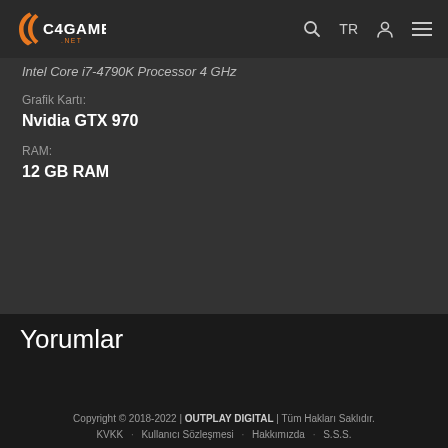C4GAME .NET | TR
Intel Core i7-4790K Processor 4 GHz
Grafik Kartı:
Nvidia GTX 970
RAM:
12 GB RAM
Yorumlar
Copyright © 2018-2022 | OUTPLAY DIGITAL | Tüm Hakları Saklıdır.
KVKK · Kullanıcı Sözleşmesi · Hakkımızda · S.S.S.